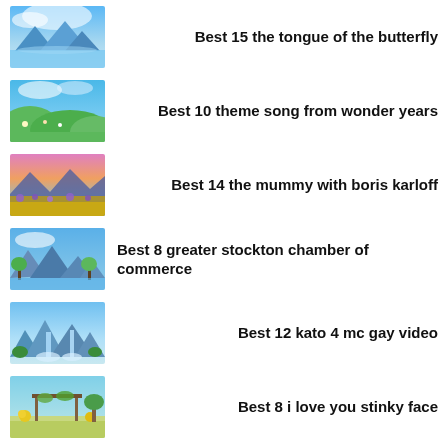Best 15 the tongue of the butterfly
Best 10 theme song from wonder years
Best 14 the mummy with boris karloff
Best 8 greater stockton chamber of commerce
Best 12 kato 4 mc gay video
Best 8 i love you stinky face
Best 10 being summoned out of inanimate objects